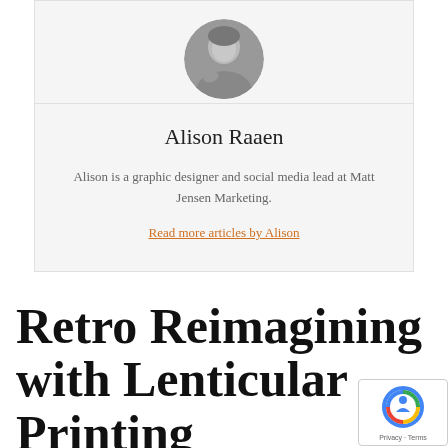[Figure (photo): Circular cropped black and white portrait photo of Alison Raaen]
Alison Raaen
Alison is a graphic designer and social media lead at Matt Jensen Marketing.
Read more articles by Alison
Retro Reimagining with Lenticular Printing